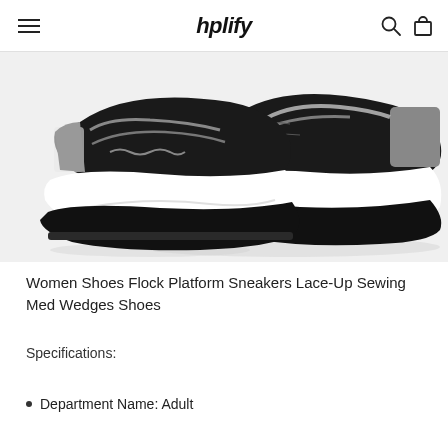hplify
[Figure (photo): Black and white chunky platform sneakers with lace-up design and thick white wave-shaped sole, photographed on white background]
Women Shoes Flock Platform Sneakers Lace-Up Sewing Med Wedges Shoes
Specifications:
Department Name: Adult